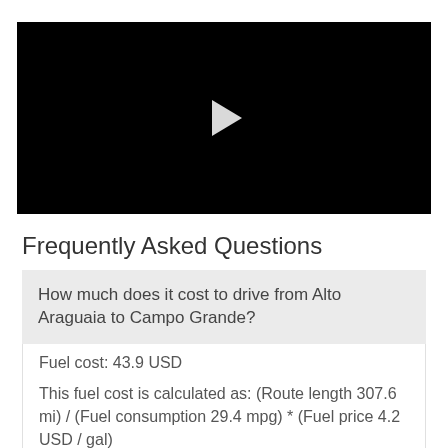[Figure (screenshot): Black video player with a white play button triangle in the center]
Frequently Asked Questions
How much does it cost to drive from Alto Araguaia to Campo Grande?
Fuel cost: 43.9 USD
This fuel cost is calculated as: (Route length 307.6 mi) / (Fuel consumption 29.4 mpg) * (Fuel price 4.2 USD / gal)
You can adjust fuel consumption and fuel price here.